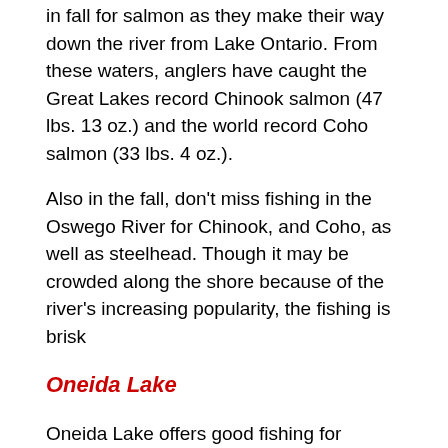in fall for salmon as they make their way down the river from Lake Ontario. From these waters, anglers have caught the Great Lakes record Chinook salmon (47 lbs. 13 oz.) and the world record Coho salmon (33 lbs. 4 oz.).
Also in the fall, don't miss fishing in the Oswego River for Chinook, and Coho, as well as steelhead. Though it may be crowded along the shore because of the river's increasing popularity, the fishing is brisk
Oneida Lake
Oneida Lake offers good fishing for numerous fish from its northern and southern fishing spots. The species include walleye, largemouth bass, smallmouth bass, chain pickerel, northern pike, tiger muskie bluegill, pumpkinseed sunfish, rock bass, black crappie, yellow perch, freshwater drum, common carp, bowfin, burbot, longnose gar, lake sturgeon, gizzard shad, and round goby.
Skaneateles